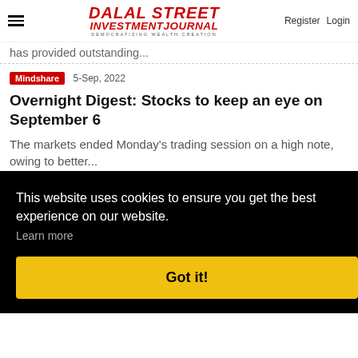Dalal Street Investment Journal — DEMOCRATIZING WEALTH CREATION — Register Login
has provided outstanding...
Mindshare  5-Sep, 2022
Overnight Digest: Stocks to keep an eye on September 6
The markets ended Monday's trading session on a high note, owing to better...
This website uses cookies to ensure you get the best experience on our website. Learn more Got it!